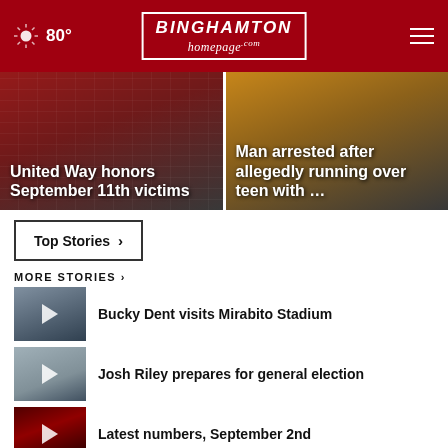80° | BINGHAMTON homepage.com
[Figure (photo): News card: United Way honors September 11th victims - American flag background]
[Figure (photo): News card: Man arrested after allegedly running over teen with ...]
Top Stories ›
MORE STORIES ›
[Figure (photo): Thumbnail: Bucky Dent visits Mirabito Stadium]
Bucky Dent visits Mirabito Stadium
[Figure (photo): Thumbnail: Josh Riley prepares for general election]
Josh Riley prepares for general election
[Figure (photo): Thumbnail: Latest numbers, September 2nd]
Latest numbers, September 2nd